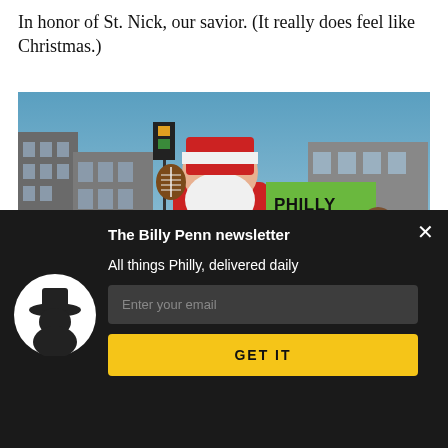In honor of St. Nick, our savior. (It really does feel like Christmas.)
[Figure (photo): Street parade scene with a person dressed as Santa Claus holding a football, in front of a green 'PHILLY SPECIAL' sign, with a city street and crowd in the background]
The Billy Penn newsletter
All things Philly, delivered daily
Enter your email
GET IT